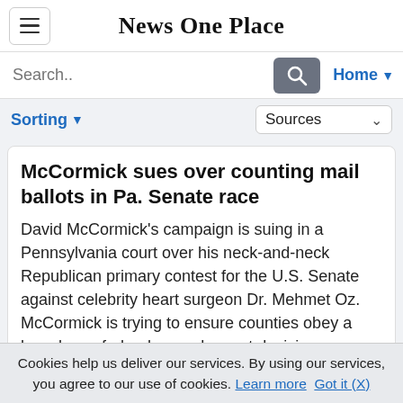News One Place
McCormick sues over counting mail ballots in Pa. Senate race
David McCormick's campaign is suing in a Pennsylvania court over his neck-and-neck Republican primary contest for the U.S. Senate against celebrity heart surgeon Dr. Mehmet Oz. McCormick is trying to ensure counties obey a brand-new federal appeals court decision ..
Cookies help us deliver our services. By using our services, you agree to our use of cookies. Learn more  Got it (X)